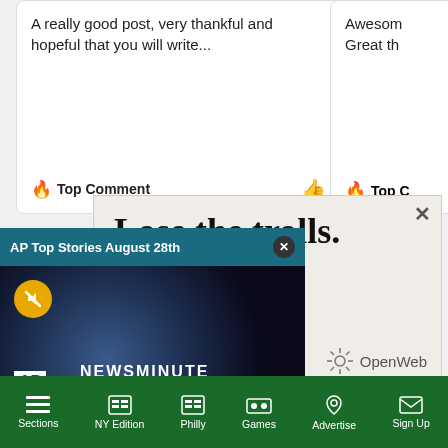[Figure (screenshot): Comment card showing: 'A really good post, very thankful and hopeful that you will write...' with Top Comment label and flame icon]
[Figure (screenshot): Partial comment card on right showing 'Awesom... Great th...' with Top C(omment) label]
[Figure (screenshot): Advertisement panel with text 'Lose the trolls.' and partial text 'nents.' with OpenWeb logo and close button]
[Figure (screenshot): AP Top Stories August 28th video player overlay showing earth image, AP NEWSMINUTE branding, mute button, with teal header bar and close button]
[Figure (screenshot): Bottom navigation bar with green background showing Sections, NY Edition, Philly, Games, Advertise, Sign Up icons]